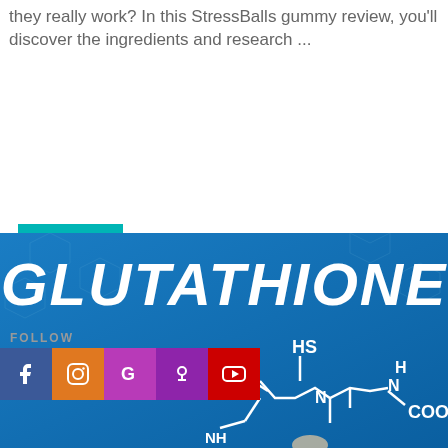they really work? In this StressBalls gummy review, you'll discover the ingredients and research ...
READ MORE
[Figure (illustration): Blue background image showing the word GLUTATHIONE in large white bold italic text at the top, with a chemical structure diagram of glutathione molecule below, including labeled groups: HS, O, N, H, N, COOH. A hand is visible at the bottom holding something.]
FOLLOW
Facebook, Instagram, Google, Podcast, YouTube social media icons